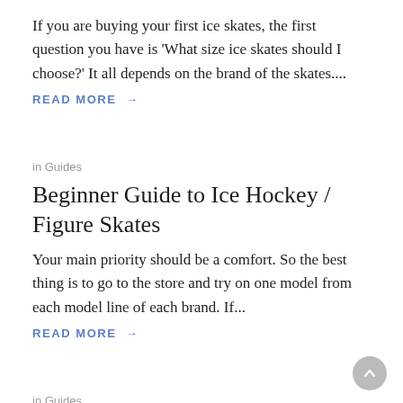If you are buying your first ice skates, the first question you have is 'What size ice skates should I choose?' It all depends on the brand of the skates....
READ MORE →
in Guides
Beginner Guide to Ice Hockey / Figure Skates
Your main priority should be a comfort. So the best thing is to go to the store and try on one model from each model line of each brand. If...
READ MORE →
in Guides
How to Tie Ice Skates Properly